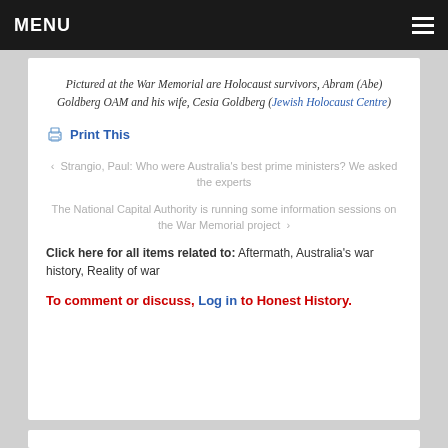MENU
Pictured at the War Memorial are Holocaust survivors, Abram (Abe) Goldberg OAM and his wife, Cesia Goldberg (Jewish Holocaust Centre)
Print This
‹ Strangio, Paul: Who were Australia's best prime ministers? We asked the experts
The National Capital Authority is running some information sessions on the War Memorial project ›
Click here for all items related to: Aftermath, Australia's war history, Reality of war
To comment or discuss, Log in to Honest History.